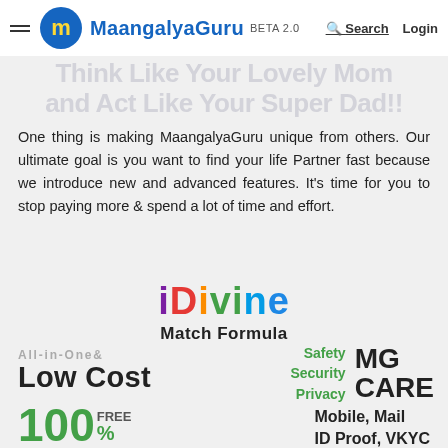MaangalyaGuru BETA 2.0 | Search | Login
Think Like Your Lovely Mom and Act Like Your Super Dad!!
One thing is making MaangalyaGuru unique from others. Our ultimate goal is you want to find your life Partner fast because we introduce new and advanced features. It's time for you to stop paying more & spend a lot of time and effort.
[Figure (logo): iDivine Match Formula colorful logo text]
All-in-One& Low Cost
Safety Security Privacy MG CARE
100% FREE
Mobile, Mail ID Proof, VKYC